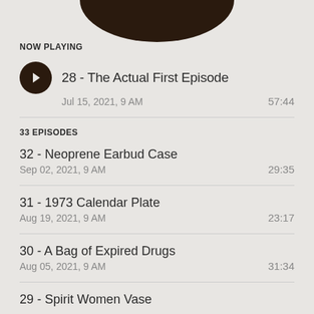[Figure (illustration): Dark brown circular podcast artwork, partially cropped at the top of the screen]
NOW PLAYING
28 - The Actual First Episode | Jul 15, 2021, 9 AM | 57:44
33 EPISODES
32 - Neoprene Earbud Case | Sep 02, 2021, 9 AM | 29:35
31 - 1973 Calendar Plate | Aug 19, 2021, 9 AM | 23:17
30 - A Bag of Expired Drugs | Aug 05, 2021, 9 AM | 31:34
29 - Spirit Women Vase